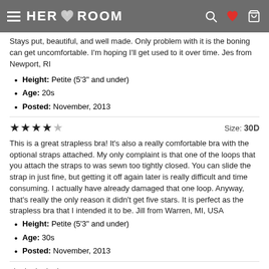HER ROOM
Stays put, beautiful, and well made. Only problem with it is the boning can get uncomfortable. I'm hoping I'll get used to it over time. Jes from Newport, RI
Height: Petite (5'3" and under)
Age: 20s
Posted: November, 2013
★★★★☆  Size: 30D
This is a great strapless bra! It's also a really comfortable bra with the optional straps attached. My only complaint is that one of the loops that you attach the straps to was sewn too tightly closed. You can slide the strap in just fine, but getting it off again later is really difficult and time consuming. I actually have already damaged that one loop. Anyway, that's really the only reason it didn't get five stars. It is perfect as the strapless bra that I intended it to be. Jill from Warren, MI, USA
Height: Petite (5'3" and under)
Age: 30s
Posted: November, 2013
★★★★★  Size: 32DD
This is a great bra. It's so hard to find a strapless that will stay in place without the occasional adjustment. I didn't have to pull this up